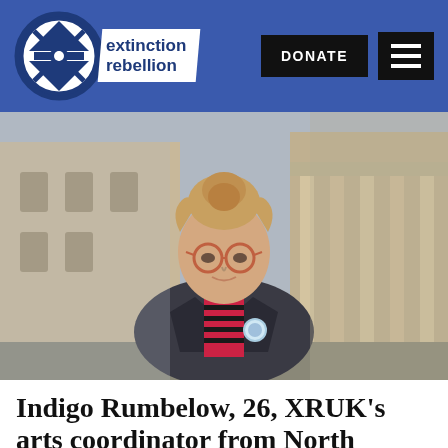extinction rebellion — DONATE [menu]
[Figure (photo): Young woman with curly hair in a bun, glasses, wearing a dark blazer over a red and black striped shirt with a small button badge, standing in front of a classical stone building with columns]
Indigo Rumbelow, 26, XRUK's arts coordinator from North